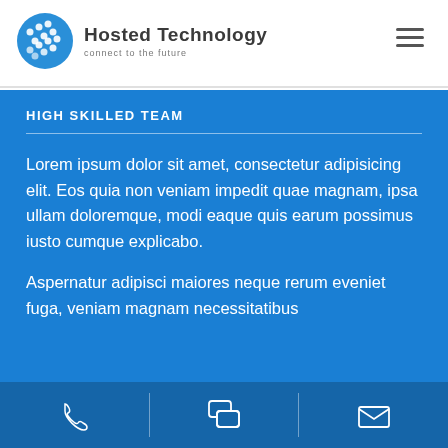[Figure (logo): Hosted Technology logo with blue circle/globe icon and text 'Hosted Technology, connect to the future']
HIGH SKILLED TEAM
Lorem ipsum dolor sit amet, consectetur adipisicing elit. Eos quia non veniam impedit quae magnam, ipsa ullam doloremque, modi eaque quis earum possimus iusto cumque explicabo.
Aspernatur adipisci maiores neque rerum eveniet fuga, veniam magnam necessitatibus
[Figure (infographic): Footer bar with three icons: phone, chat/comment bubbles, and envelope/email, separated by vertical dividers]